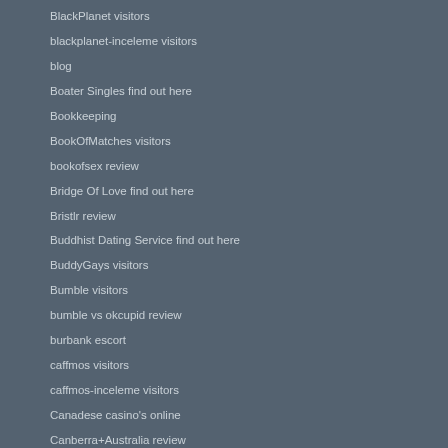BlackPlanet visitors
blackplanet-inceleme visitors
blog
Boater Singles find out here
Bookkeeping
BookOfMatches visitors
bookofsex review
Bridge Of Love find out here
Bristlr review
Buddhist Dating Service find out here
BuddyGays visitors
Bumble visitors
bumble vs okcupid review
burbank escort
caffmos visitors
caffmos-inceleme visitors
Canadese casino's online
Canberra+Australia review